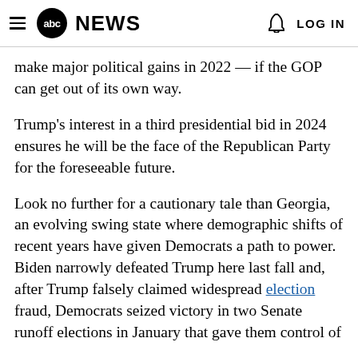abc NEWS   LOG IN
make major political gains in 2022 — if the GOP can get out of its own way.
Trump's interest in a third presidential bid in 2024 ensures he will be the face of the Republican Party for the foreseeable future.
Look no further for a cautionary tale than Georgia, an evolving swing state where demographic shifts of recent years have given Democrats a path to power. Biden narrowly defeated Trump here last fall and, after Trump falsely claimed widespread election fraud, Democrats seized victory in two Senate runoff elections in January that gave them control of